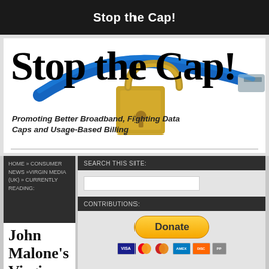Stop the Cap!
[Figure (illustration): Website banner with blue ethernet cable locked with a gold padlock, white background]
Stop the Cap!
Promoting Better Broadband, Fighting Data Caps and Usage-Based Billing
HOME » CONSUMER NEWS »VIRGIN MEDIA (UK) » CURRENTLY READING:
John Malone's Virgin
SEARCH THIS SITE:
CONTRIBUTIONS:
[Figure (other): PayPal Donate button with payment card icons below (Visa, Mastercard, Amex, Discover)]